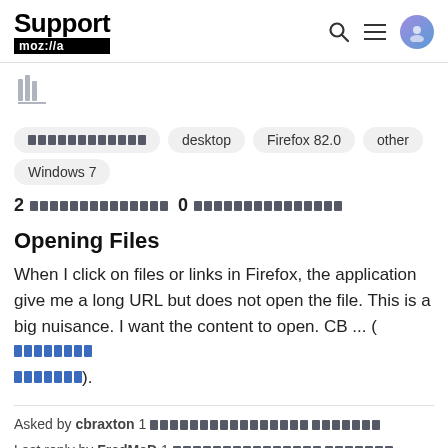Support mozilla // [search icon] [menu icon] [avatar icon]
[Figure (illustration): Library/bookmark stack icon in gray]
[redacted tag] desktop   Firefox 82.0   other   Windows 7
2 [redacted] 0 [redacted]
Opening Files
When I click on files or links in Firefox, the application give me a long URL but does not open the file. This is a big nuisance. I want the content to open. CB ... ([redacted link]).
Asked by cbraxton 1 [redacted]  Last reply by FredMcD 1 [redacted]